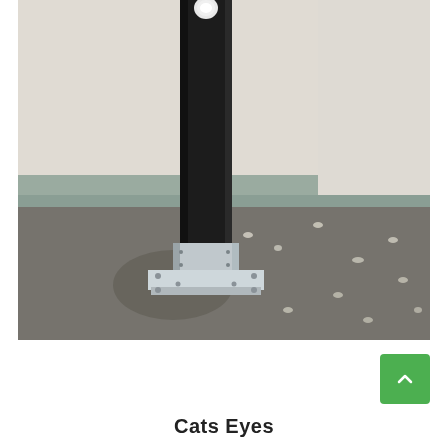[Figure (photo): Close-up photograph of a black square bollard post mounted on a galvanized metal base plate, installed against a white rendered wall. The ground is tarmac/asphalt. Cat's eyes road studs are visible scattered across the tarmac surface.]
Cats Eyes